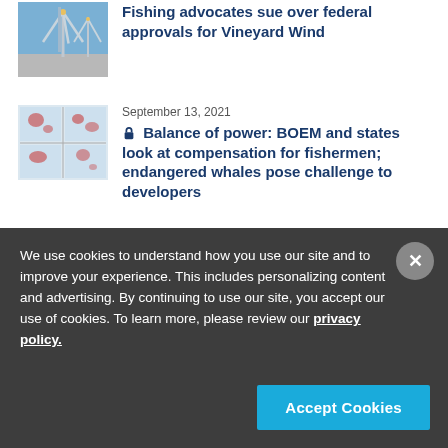[Figure (photo): Thumbnail photo of wind turbines against blue sky with golden base]
Fishing advocates sue over federal approvals for Vineyard Wind
September 13, 2021
[Figure (photo): Thumbnail showing 4-panel map with red highlighted areas on ocean maps]
Balance of power: BOEM and states look at compensation for fishermen; endangered whales pose challenge to developers
Join the Conversation
We use cookies to understand how you use our site and to improve your experience. This includes personalizing content and advertising. By continuing to use our site, you accept our use of cookies. To learn more, please review our privacy policy.